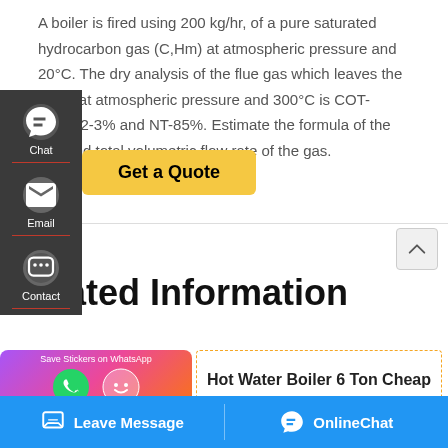A boiler is fired using 200 kg/hr, of a pure saturated hydrocarbon gas (C,Hm) at atmospheric pressure and 20°C. The dry analysis of the flue gas which leaves the boiler at atmospheric pressure and 300°C is COT-12%,02-3% and NT-85%. Estimate the formula of the fuel and total volumetric flow rate of the gas.
[Figure (screenshot): Website UI sidebar with Chat, Email, Contact options in dark background; Get a Quote yellow button; scroll-up button; Related Information section header; WhatsApp sticker promo banner; Hot Water Boiler 6 Ton Cheap card; Leave Message and OnlineChat bottom bar]